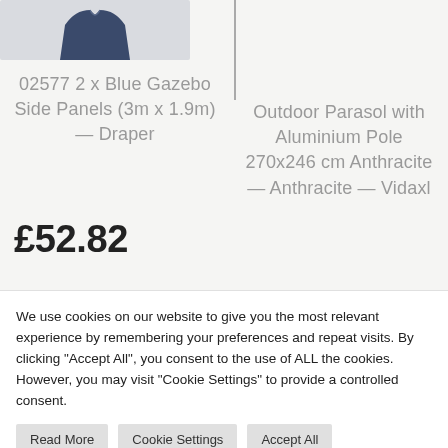[Figure (photo): Partial product image of a blue jacket/gazebo panel item, cropped at top]
02577 2 x Blue Gazebo Side Panels (3m x 1.9m) — Draper
£52.82
[Figure (photo): Partial product image of outdoor parasol, cropped, showing a vertical pole/line]
Outdoor Parasol with Aluminium Pole 270x246 cm Anthracite — Anthracite — Vidaxl
We use cookies on our website to give you the most relevant experience by remembering your preferences and repeat visits. By clicking "Accept All", you consent to the use of ALL the cookies. However, you may visit "Cookie Settings" to provide a controlled consent.
Read More
Cookie Settings
Accept All